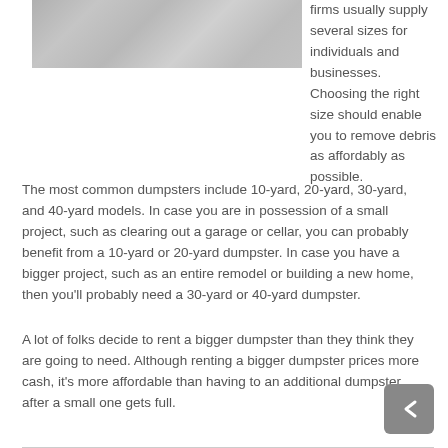[Figure (photo): Grayscale photo of concrete or gravel surface texture]
firms usually supply several sizes for individuals and businesses. Choosing the right size should enable you to remove debris as affordably as possible.
The most common dumpsters include 10-yard, 20-yard, 30-yard, and 40-yard models. In case you are in possession of a small project, such as clearing out a garage or cellar, you can probably benefit from a 10-yard or 20-yard dumpster. In case you have a bigger project, such as an entire remodel or building a new home, then you'll probably need a 30-yard or 40-yard dumpster.
A lot of folks decide to rent a bigger dumpster than they think they are going to need. Although renting a bigger dumpster prices more cash, it's more affordable than having to an additional dumpster after a small one gets full.